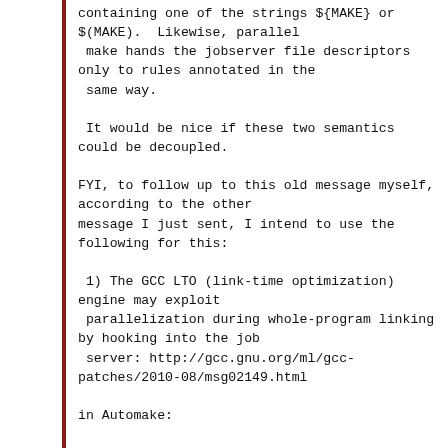containing one of the strings ${MAKE} or $(MAKE).  Likewise, parallel
 make hands the jobserver file descriptors only to rules annotated in the
 same way.

 It would be nice if these two semantics could be decoupled.

FYI, to follow up to this old message myself, according to the other
message I just sent, I intend to use the following for this:

 1) The GCC LTO (link-time optimization) engine may exploit
 parallelization during whole-program linking by hooking into the job
 server: http://gcc.gnu.org/ml/gcc-patches/2010-08/msg02149.html

in Automake: